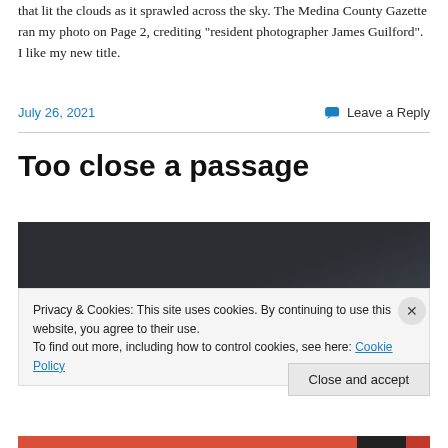that lit the clouds as it sprawled across the sky. The Medina County Gazette ran my photo on Page 2, crediting “resident photographer James Guilford”. I like my new title.
July 26, 2021
Leave a Reply
Too close a passage
[Figure (photo): Dark sky photograph, mostly dark background]
Privacy & Cookies: This site uses cookies. By continuing to use this website, you agree to their use.
To find out more, including how to control cookies, see here: Cookie Policy
Close and accept